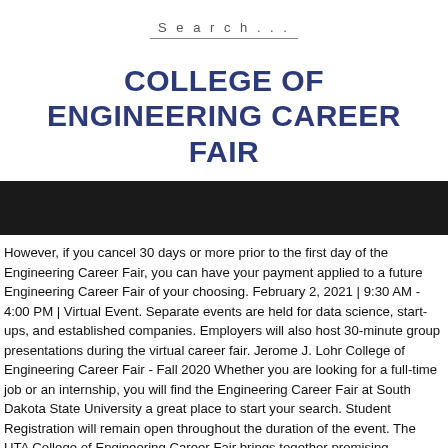Search...
COLLEGE OF ENGINEERING CAREER FAIR
[Figure (photo): Dark/black banner image below the title]
However, if you cancel 30 days or more prior to the first day of the Engineering Career Fair, you can have your payment applied to a future Engineering Career Fair of your choosing. February 2, 2021 | 9:30 AM - 4:00 PM | Virtual Event. Separate events are held for data science, start-ups, and established companies. Employers will also host 30-minute group presentations during the virtual career fair. Jerome J. Lohr College of Engineering Career Fair - Fall 2020 Whether you are looking for a full-time job or an internship, you will find the Engineering Career Fair at South Dakota State University a great place to start your search. Student Registration will remain open throughout the duration of the event. The UTA College of Engineering Career Fair brings together promising engineering students looking for full-time or internship/co-op positions and employer representatives with positions to fill. Engineering